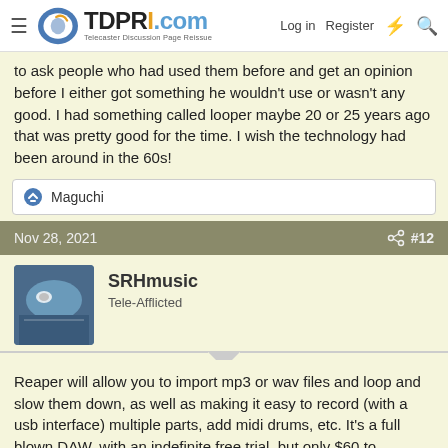TDPRI.com – Telecaster Discussion Page Reissue | Log in | Register
to ask people who had used them before and get an opinion before I either got something he wouldn't use or wasn't any good. I had something called looper maybe 20 or 25 years ago that was pretty good for the time. I wish the technology had been around in the 60s!
Maguchi
Nov 28, 2021  #12
SRHmusic
Tele-Afflicted
Reaper will allow you to import mp3 or wav files and loop and slow them down, as well as making it easy to record (with a usb interface) multiple parts, add midi drums, etc. It's a full blown DAW, with an indefinite free trial, but only $60 to purchase (well worth it really).
Direwolf and suthol